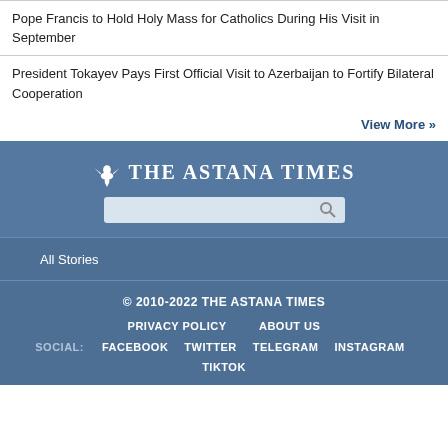Pope Francis to Hold Holy Mass for Catholics During His Visit in September
President Tokayev Pays First Official Visit to Azerbaijan to Fortify Bilateral Cooperation
View More »
[Figure (logo): The Astana Times logo with eagle icon and search bar]
All Stories
© 2010-2022 THE ASTANA TIMES
PRIVACY POLICY  ABOUT US
SOCIAL: FACEBOOK  TWITTER  TELEGRAM  INSTAGRAM
TIKTOK